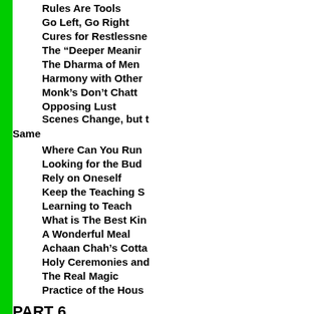Rules Are Tools
Go Left, Go Right
Cures for Restlessness
The “Deeper Meaning”
The Dharma of Men
Harmony with Others
Monk’s Don’t Chatter
Opposing Lust
Scenes Change, but the Same
Where Can You Run
Looking for the Buddha
Rely on Oneself
Keep the Teaching Simple
Learning to Teach
What is The Best Kind
A Wonderful Meal
Achaan Chah’s Cottage
Holy Ceremonies and
The Real Magic
Practice of the House
PART 6
Questions for the Teacher